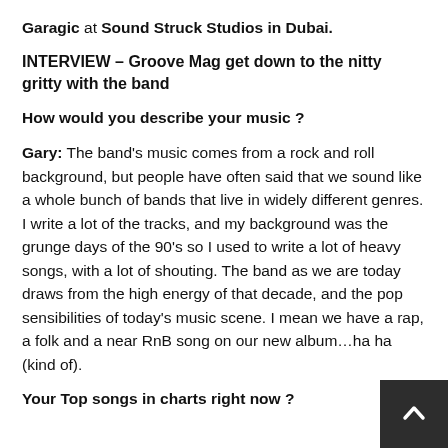Garagic at Sound Struck Studios in Dubai.
INTERVIEW – Groove Mag get down to the nitty gritty with the band
How would you describe your music ?
Gary: The band's music comes from a rock and roll background, but people have often said that we sound like a whole bunch of bands that live in widely different genres. I write a lot of the tracks, and my background was the grunge days of the 90's so I used to write a lot of heavy songs, with a lot of shouting. The band as we are today draws from the high energy of that decade, and the pop sensibilities of today's music scene. I mean we have a rap, a folk and a near RnB song on our new album…ha ha (kind of).
Your Top songs in charts right now ?